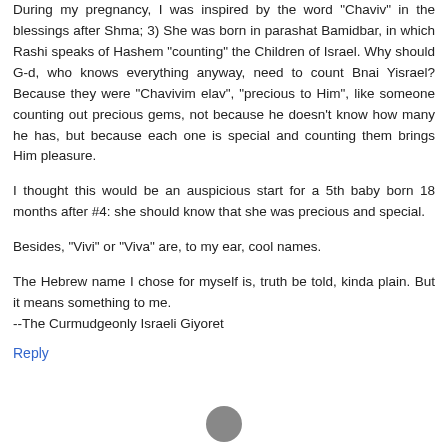During my pregnancy, I was inspired by the word 'Chaviv' in the blessings after Shma; 3) She was born in parashat Bamidbar, in which Rashi speaks of Hashem "counting" the Children of Israel. Why should G-d, who knows everything anyway, need to count Bnai Yisrael? Because they were "Chavivim elav", "precious to Him", like someone counting out precious gems, not because he doesn't know how many he has, but because each one is special and counting them brings Him pleasure.
I thought this would be an auspicious start for a 5th baby born 18 months after #4: she should know that she was precious and special.
Besides, "Vivi" or "Viva" are, to my ear, cool names.
The Hebrew name I chose for myself is, truth be told, kinda plain. But it means something to me.
--The Curmudgeonly Israeli Giyoret
Reply